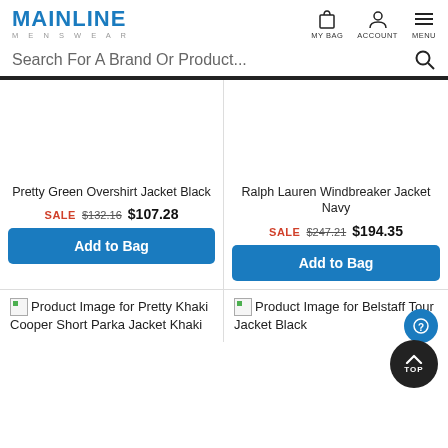MAINLINE MENSWEAR — MY BAG, ACCOUNT, MENU
Search For A Brand Or Product...
Pretty Green Overshirt Jacket Black
SALE $132.16 $107.28
Add to Bag
Ralph Lauren Windbreaker Jacket Navy
SALE $247.21 $194.35
Add to Bag
[Figure (screenshot): Product Image for Pretty Khaki Cooper Short Parka Jacket Khaki (broken image placeholder)]
[Figure (screenshot): Product Image for Belstaff Tour Jacket Black (broken image placeholder)]